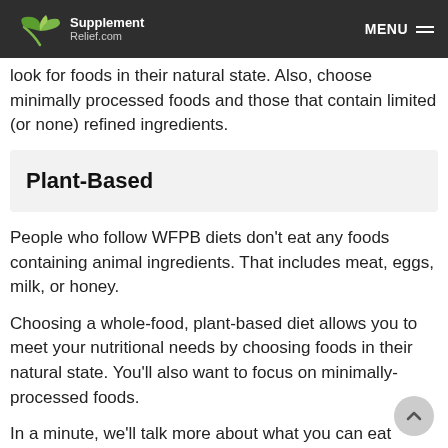Supplement Relief.com  MENU
look for foods in their natural state. Also, choose minimally processed foods and those that contain limited (or none) refined ingredients.
Plant-Based
People who follow WFPB diets don't eat any foods containing animal ingredients. That includes meat, eggs, milk, or honey.
Choosing a whole-food, plant-based diet allows you to meet your nutritional needs by choosing foods in their natural state. You'll also want to focus on minimally-processed foods.
In a minute, we'll talk more about what you can eat